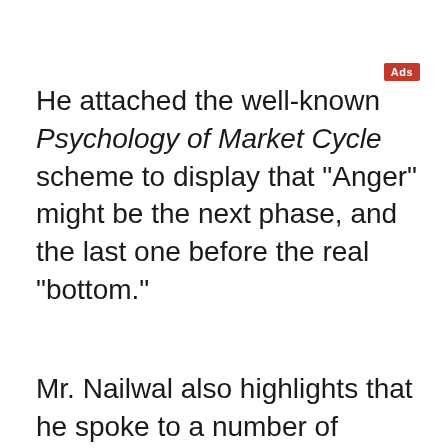He attached the well-known Psychology of Market Cycle scheme to display that "Anger" might be the next phase, and the last one before the real "bottom."
Mr. Nailwal also highlights that he spoke to a number of people who question the entire "promise" of Web3 as crypto market capitalization dips below $1 trillion.